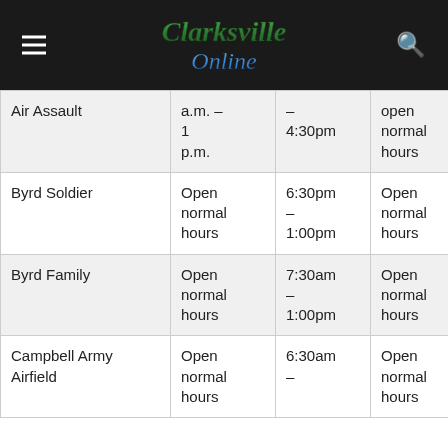Clarksville Online
| Location | Col1 | Col2 | Col3 | Col4 | Col5 |
| --- | --- | --- | --- | --- | --- |
| Air Assault | a.m. – 1 p.m. | – 4:30pm | open normal hours | closed | – 4:00p |
| Byrd Soldier | Open normal hours | 6:30pm – 1:00pm | Open normal hours | closed | close |
| Byrd Family | Open normal hours | 7:30am – 1:00pm | Open normal hours | closed | close |
| Campbell Army Airfield | Open normal hours | 6:30am – | Open normal hours | closed | close |